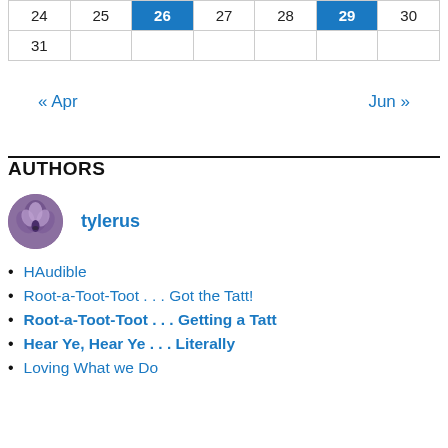| 24 | 25 | 26 | 27 | 28 | 29 | 30 |
| 31 |  |  |  |  |  |  |
« Apr    Jun »
AUTHORS
[Figure (photo): Circular avatar photo of user tylerus — purple/grey iris flower or similar floral image]
tylerus
HAudible
Root-a-Toot-Toot . . . Got the Tatt!
Root-a-Toot-Toot . . . Getting a Tatt
Hear Ye, Hear Ye . . . Literally
Loving What we Do